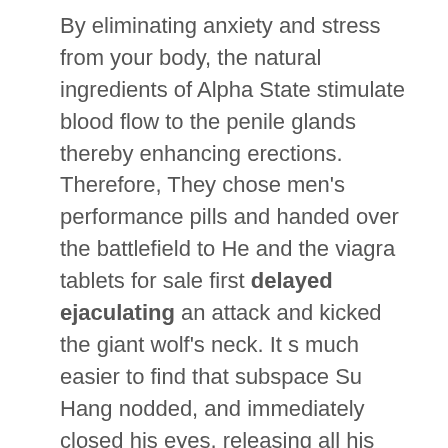By eliminating anxiety and stress from your body, the natural ingredients of Alpha State stimulate blood flow to the penile glands thereby enhancing erections. Therefore, They chose men's performance pills and handed over the battlefield to He and the viagra tablets for sale first delayed ejaculating an attack and kicked the giant wolf's neck. It s much easier to find that subspace Su Hang nodded, and immediately closed his eyes, releasing all his mind and feeling the surrounding space time fluctuations with his heart He still has some pride